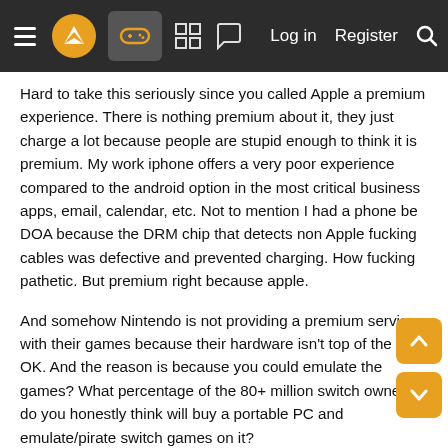Navigation bar with hamburger menu, logo, gamepad icon (active), grid icon, chat icon, Log in, Register, Search
Hard to take this seriously since you called Apple a premium experience. There is nothing premium about it, they just charge a lot because people are stupid enough to think it is premium. My work iphone offers a very poor experience compared to the android option in the most critical business apps, email, calendar, etc. Not to mention I had a phone be DOA because the DRM chip that detects non Apple fucking cables was defective and prevented charging. How fucking pathetic. But premium right because apple.
And somehow Nintendo is not providing a premium service with their games because their hardware isn't top of the line. OK. And the reason is because you could emulate the games? What percentage of the 80+ million switch owners do you honestly think will buy a portable PC and emulate/pirate switch games on it?
The Steam Deck is not going to take over the core switch market. It will provide a portable gaming experience that